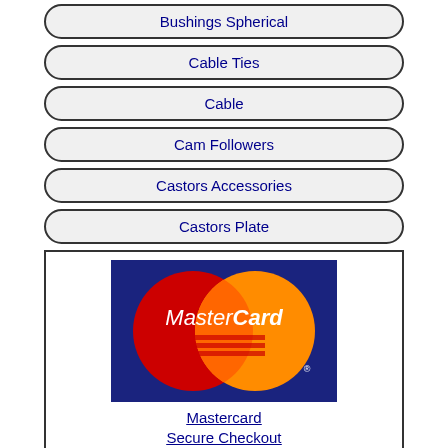Bushings Spherical
Cable Ties
Cable
Cam Followers
Castors Accessories
Castors Plate
[Figure (logo): MasterCard logo with overlapping red and orange circles and white MasterCard text, followed by underlined blue text 'Mastercard Secure Checkout']
Castors Stud
Catalogues